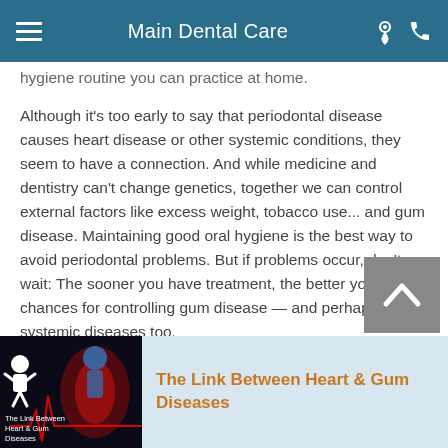Main Dental Care
hygiene routine you can practice at home.
Although it's too early to say that periodontal disease causes heart disease or other systemic conditions, they seem to have a connection. And while medicine and dentistry can't change genetics, together we can control external factors like excess weight, tobacco use... and gum disease. Maintaining good oral hygiene is the best way to avoid periodontal problems. But if problems occur, don't wait: The sooner you have treatment, the better your chances for controlling gum disease — and perhaps systemic diseases too.
[Figure (screenshot): Scroll-to-top button with upward chevron on grey background]
[Figure (screenshot): Thumbnail image for 'The Link Between Heart & Gum Diseases' video with human figure and heart graphic on dark background]
The Link Between Heart & Gum Diseases